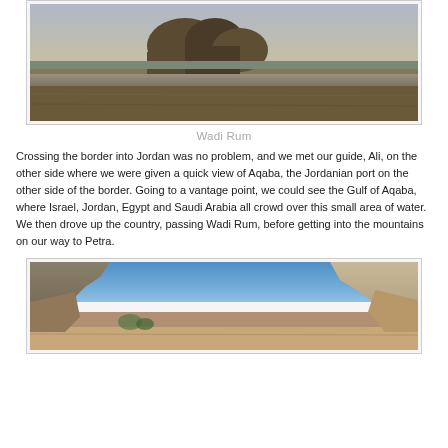[Figure (photo): Landscape photo of Wadi Rum desert with rocky mountains and a road in the foreground, taken at dusk/dawn.]
Wadi Rum
Crossing the border into Jordan was no problem, and we met our guide, Ali, on the other side where we were given a quick view of Aqaba, the Jordanian port on the other side of the border. Going to a vantage point, we could see the Gulf of Aqaba, where Israel, Jordan, Egypt and Saudi Arabia all crowd over this small area of water. We then drove up the country, passing Wadi Rum, before getting into the mountains on our way to Petra.
[Figure (photo): Photo of rocky canyon/gorge with sandstone cliffs under a blue sky, likely Petra or surrounding area.]